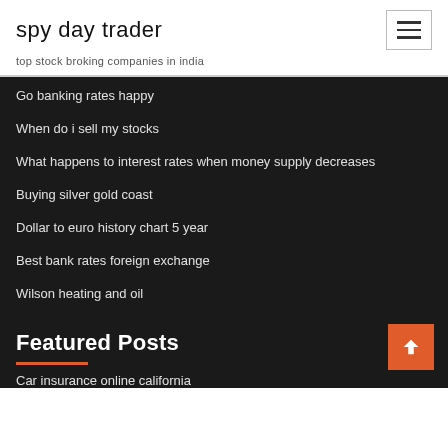spy day trader
top stock broking companies in india
Go banking rates happy
When do i sell my stocks
What happens to interest rates when money supply decreases
Buying silver gold coast
Dollar to euro history chart 5 year
Best bank rates foreign exchange
Wilson heating and oil
Featured Posts
Car insurance online california